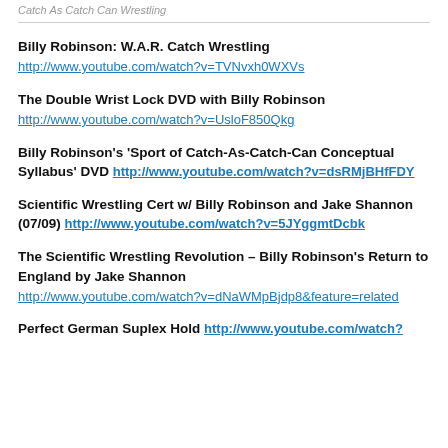Catch As Catch Can Wrestling
Billy Robinson: W.A.R. Catch Wrestling
http://www.youtube.com/watch?v=TVNvxh0WXVs
The Double Wrist Lock DVD with Billy Robinson
http://www.youtube.com/watch?v=UsloF850Qkg
Billy Robinson's 'Sport of Catch-As-Catch-Can Conceptual Syllabus' DVD http://www.youtube.com/watch?v=dsRMjBHfFDY
Scientific Wrestling Cert w/ Billy Robinson and Jake Shannon (07/09) http://www.youtube.com/watch?v=5JYggmtDcbk
The Scientific Wrestling Revolution – Billy Robinson's Return to England by Jake Shannon
http://www.youtube.com/watch?v=dNaWMpBjdp8&feature=related
Perfect German Suplex Hold http://www.youtube.com/watch?